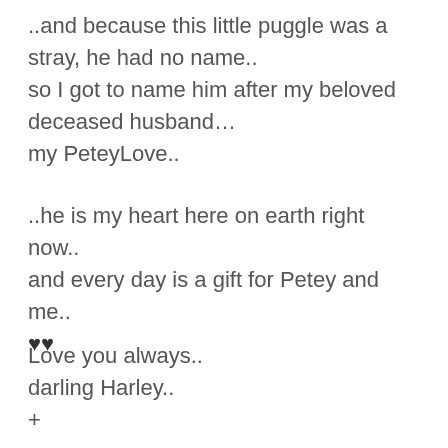..and because this little puggle was a stray, he had no name..
so I got to name him after my beloved deceased husband…
my PeteyLove..
..he is my heart here on earth right now..
and every day is a gift for Petey and me..
♥♥
Love you always..
darling Harley..
+
…